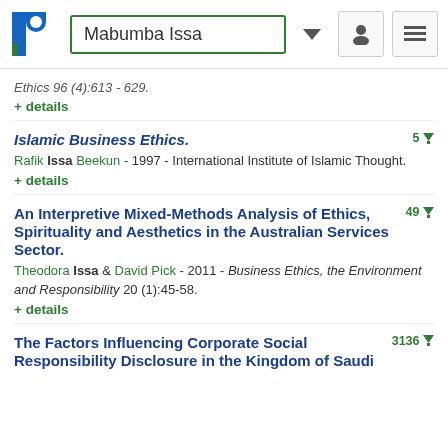Mabumba Issa
Ethics 96 (4):613 - 629.
+ details
Islamic Business Ethics.
Rafik Issa Beekun - 1997 - International Institute of Islamic Thought.
+ details
An Interpretive Mixed-Methods Analysis of Ethics, Spirituality and Aesthetics in the Australian Services Sector.
Theodora Issa & David Pick - 2011 - Business Ethics, the Environment and Responsibility 20 (1):45-58.
+ details
The Factors Influencing Corporate Social Responsibility Disclosure in the Kingdom of Saudi